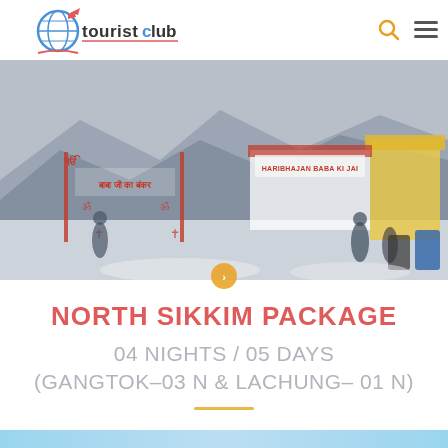touristclub
[Figure (photo): Outdoor photo showing Baba Harbhajan Singh temple/shrine area in a mountainous region. Signboards in Hindi and English read 'Baba Ji Ka Bunker' and 'Jai Harbhajan Baba Ki'. People are standing around. There is snow on the ground and a yellow structure visible.]
NORTH SIKKIM PACKAGE
04 NIGHTS / 05 DAYS
(GANGTOK–03 N & LACHUNG– 01 N)